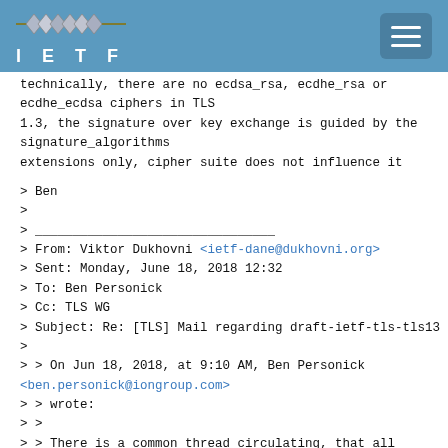IETF
technically, there are no ecdsa_rsa, ecdhe_rsa or ecdhe_ecdsa ciphers in TLS
1.3, the signature over key exchange is guided by the signature_algorithms
extensions only, cipher suite does not influence it
> Ben
>
> ________________________________
> From: Viktor Dukhovni <ietf-dane@dukhovni.org>
> Sent: Monday, June 18, 2018 12:32
> To: Ben Personick
> Cc: TLS WG
> Subject: Re: [TLS] Mail regarding draft-ietf-tls-tls13
>
> > On Jun 18, 2018, at 9:10 AM, Ben Personick
<ben.personick@iongroup.com>
> > wrote:
> >
> > There is a common thread circulating, that all support for RSA
> > Certificates/Ciphers are dropped in TLS 1.3.
> This is not the case